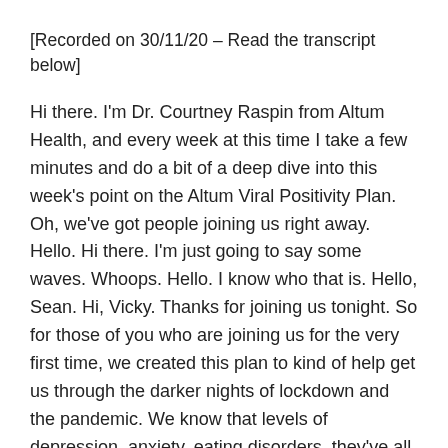[Recorded on 30/11/20 – Read the transcript below]
Hi there. I'm Dr. Courtney Raspin from Altum Health, and every week at this time I take a few minutes and do a bit of a deep dive into this week's point on the Altum Viral Positivity Plan. Oh, we've got people joining us right away. Hello. Hi there. I'm just going to say some waves. Whoops. Hello. I know who that is. Hello, Sean. Hi, Vicky. Thanks for joining us tonight. So for those of you who are joining us for the very first time, we created this plan to kind of help get us through the darker nights of lockdown and the pandemic. We know that levels of depression, anxiety, eating disorders, they've all gone up during this period. So it's more important than ever that we focused on our mental health, and this plan does just that. Yeah, every